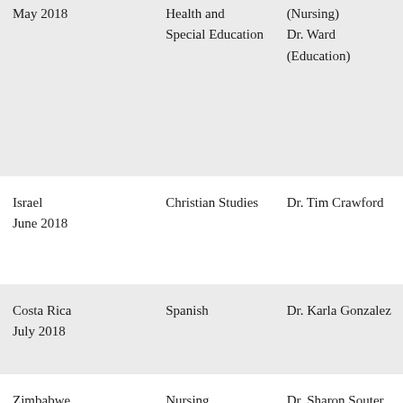| Location/Date | Subject | Faculty |
| --- | --- | --- |
| May 2018 | Health and Special Education | (Nursing)
Dr. Ward (Education) |
| Israel
June 2018 | Christian Studies | Dr. Tim Crawford |
| Costa Rica
July 2018 | Spanish | Dr. Karla Gonzalez |
| Zimbabwe
August 2018 | Nursing | Dr. Sharon Souter |